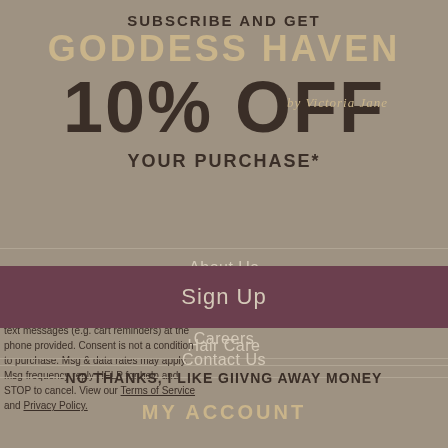SUBSCRIBE AND GET
GODDESS HAVEN
by Victoria Jane
10% OFF
YOUR PURCHASE*
About Us
FAQ
Hair Care
to receive recurring automated marketing text messages (e.g. cart reminders) at the phone provided. Consent is not a condition to purchase. Msg & data rates may apply. Msg frequency reply HELP for help and STOP to cancel. View our Terms of Service and Privacy Policy.
Careers
Contact Us
Sign Up
NO THANKS, I LIKE GIIVNG AWAY MONEY
MY ACCOUNT